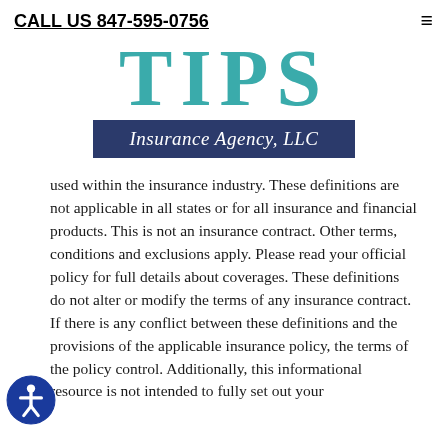CALL US 847-595-0756
[Figure (logo): TIPS Insurance Agency, LLC logo with teal TIPS letters and dark navy banner]
used within the insurance industry. These definitions are not applicable in all states or for all insurance and financial products. This is not an insurance contract. Other terms, conditions and exclusions apply. Please read your official policy for full details about coverages. These definitions do not alter or modify the terms of any insurance contract. If there is any conflict between these definitions and the provisions of the applicable insurance policy, the terms of the policy control. Additionally, this informational resource is not intended to fully set out your